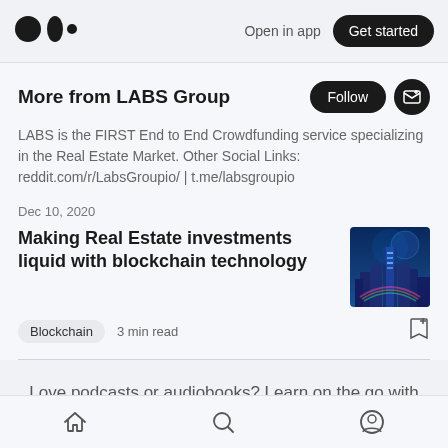Open in app | Get started
More from LABS Group
LABS is the FIRST End to End Crowdfunding service specializing in the Real Estate Market. Other Social Links: reddit.com/r/LabsGroupio/ | t.me/labsgroupio
Dec 10, 2020
Making Real Estate investments liquid with blockchain technology
[Figure (photo): Futuristic city with blockchain/technology theme, blue glowing digital cityscape]
Blockchain  3 min read
Love podcasts or audiobooks? Learn on the go with our